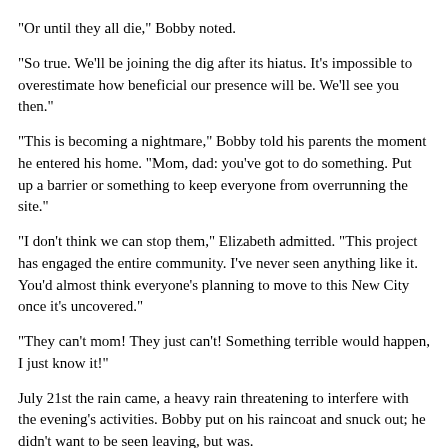"Or until they all die," Bobby noted.
"So true.  We'll be joining the dig after its hiatus.  It's impossible to overestimate how beneficial our presence will be.  We'll see you then."
"This is becoming a nightmare," Bobby told his parents the moment he entered his home.  "Mom, dad: you've got to do something.  Put up a barrier or something to keep everyone from overrunning the site."
"I don't think we can stop them," Elizabeth admitted.  "This project has engaged the entire community.  I've never seen anything like it.  You'd almost think everyone's planning to move to this New City once it's uncovered."
"They can't mom!  They just can't!  Something terrible would happen, I just know it!"
July 21st the rain came, a heavy rain threatening to interfere with the evening's activities.  Bobby put on his raincoat and snuck out; he didn't want to be seen leaving, but was.
"He's probably going to the site," Elizabeth said.  "I'm going to have to follow him.  I can't let him disturb the excavation."